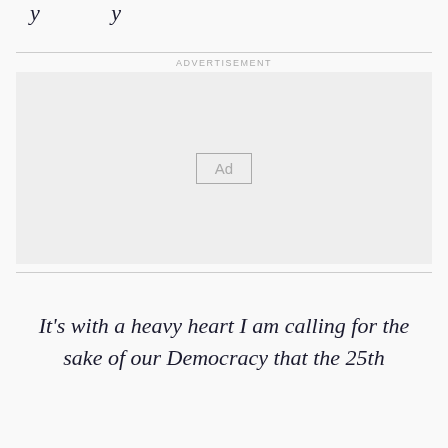It’s with a heavy heart I am calling for the sake of our Democracy that the 25th
[Figure (other): Advertisement placeholder box with 'Ad' label centered]
It’s with a heavy heart I am calling for the sake of our Democracy that the 25th